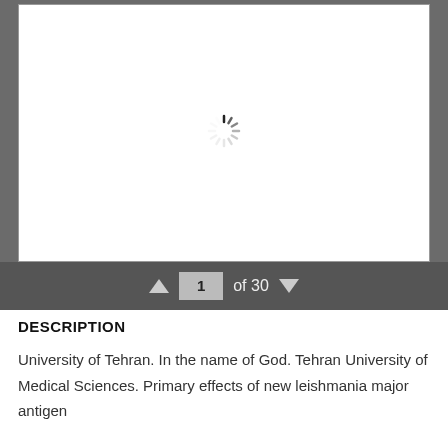[Figure (screenshot): Document viewer showing a loading spinner (radial dashes) in the center of a white page area, with a dark gray navigation bar at the bottom showing page 1 of 30 with up/down arrows.]
DESCRIPTION
University of Tehran. In the name of God. Tehran University of Medical Sciences. Primary effects of new leishmania major antigen